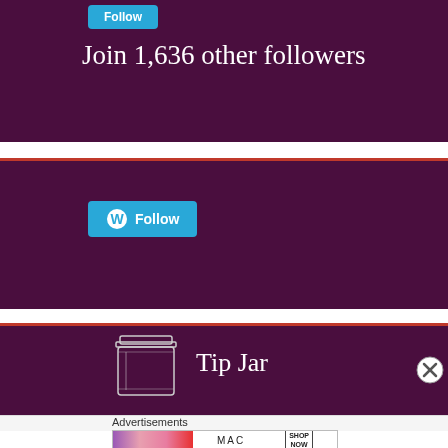Join 1,636 other followers
[Figure (screenshot): WordPress Follow button in teal/blue with W logo and 'Follow' text, on purple background]
[Figure (screenshot): WordPress Follow button in teal/blue with W logo and 'Follow' text on purple background, second instance]
Tip Jar
[Figure (illustration): Sketch illustration of a glass mason jar for Tip Jar widget]
Advertisements
[Figure (photo): MAC Cosmetics advertisement banner showing lipsticks and SHOP NOW button]